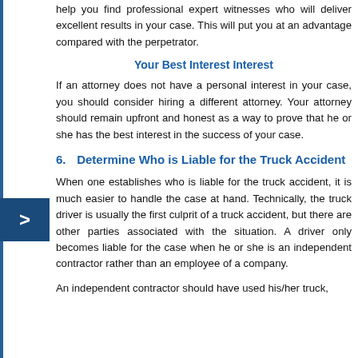help you find professional expert witnesses who will deliver excellent results in your case. This will put you at an advantage compared with the perpetrator.
Your Best Interest Interest
If an attorney does not have a personal interest in your case, you should consider hiring a different attorney. Your attorney should remain upfront and honest as a way to prove that he or she has the best interest in the success of your case.
6. Determine Who is Liable for the Truck Accident
When one establishes who is liable for the truck accident, it is much easier to handle the case at hand. Technically, the truck driver is usually the first culprit of a truck accident, but there are other parties associated with the situation. A driver only becomes liable for the case when he or she is an independent contractor rather than an employee of a company.
An independent contractor should have used his/her truck,